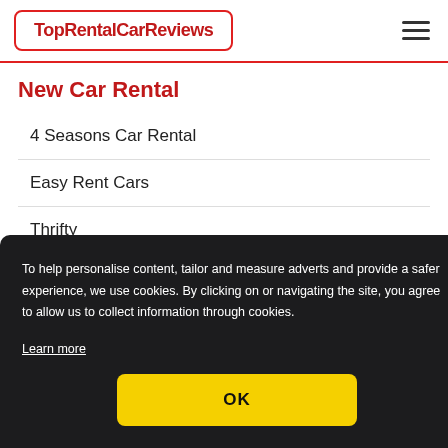TopRentalCarReviews
New Car Rental
4 Seasons Car Rental
Easy Rent Cars
Thrifty
To help personalise content, tailor and measure adverts and provide a safer experience, we use cookies. By clicking on or navigating the site, you agree to allow us to collect information through cookies.
Learn more
OK